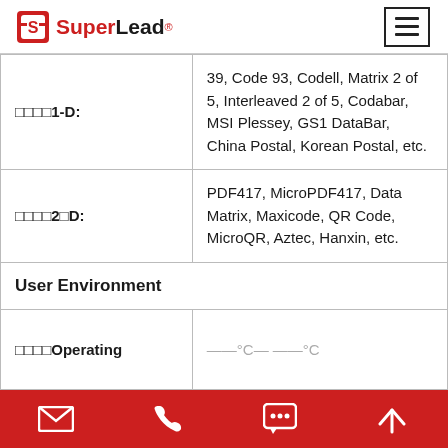SuperLead®
|  |  |
| --- | --- |
| 条形码1-D: | 39, Code 93, Codell, Matrix 2 of 5, Interleaved 2 of 5, Codabar, MSI Plessey, GS1 DataBar, China Postal, Korean Postal, etc. |
| 条形码2维D: | PDF417, MicroPDF417, Data Matrix, Maxicode, QR Code, MicroQR, Aztec, Hanxin, etc. |
| User Environment |  |
| 条形码Operating | 20°C to 60°C |
Contact icons: email, phone, chat, up arrow